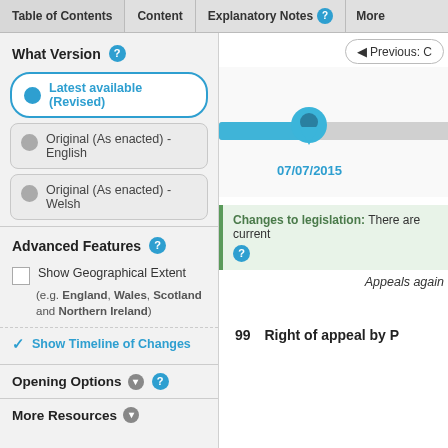Table of Contents | Content | Explanatory Notes | More
What Version
Latest available (Revised)
Original (As enacted) - English
Original (As enacted) - Welsh
Advanced Features
Show Geographical Extent
(e.g. England, Wales, Scotland and Northern Ireland)
Show Timeline of Changes
Opening Options
More Resources
[Figure (other): Timeline showing date 07/07/2015 with a blue location pin marker on a horizontal slider]
Changes to legislation: There are current
Appeals again
99   Right of appeal by P